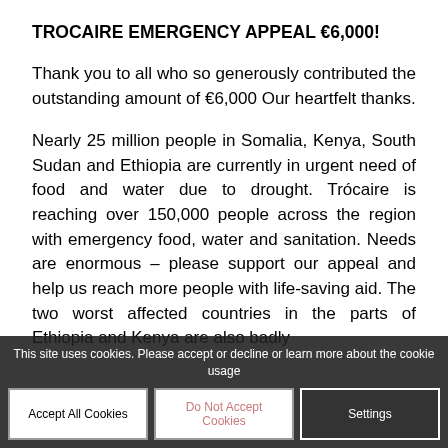TROCAIRE EMERGENCY APPEAL €6,000!
Thank you to all who so generously contributed the outstanding amount of €6,000 Our heartfelt thanks.
Nearly 25 million people in Somalia, Kenya, South Sudan and Ethiopia are currently in urgent need of food and water due to drought. Trócaire is reaching over 150,000 people across the region with emergency food, water and sanitation. Needs are enormous – please support our appeal and help us reach more people with life-saving aid. The two worst affected countries in the parts of Ethiopia and Kenya are also badly
This site uses cookies. Please accept or decline or learn more about the cookie usage
Accept All Cookies
Do Not Accept Cookies
Settings